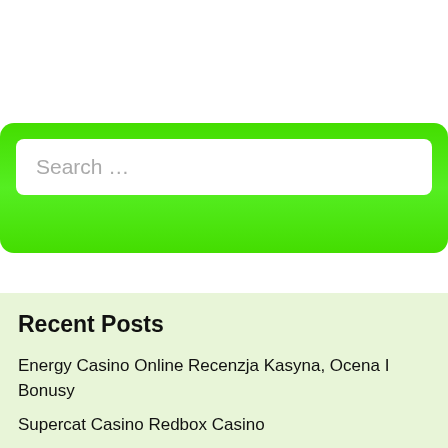[Figure (screenshot): Search bar with green border/background, placeholder text 'Search …']
Recent Posts
Energy Casino Online Recenzja Kasyna, Ocena I Bonusy
Supercat Casino Redbox Casino